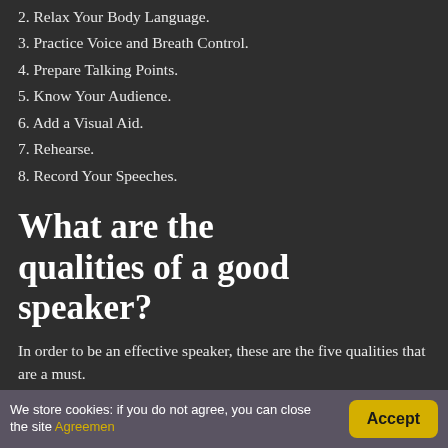2. Relax Your Body Language.
3. Practice Voice and Breath Control.
4. Prepare Talking Points.
5. Know Your Audience.
6. Add a Visual Aid.
7. Rehearse.
8. Record Your Speeches.
What are the qualities of a good speaker?
In order to be an effective speaker, these are the five qualities that are a must.
Confidence. Confidence is huge when it